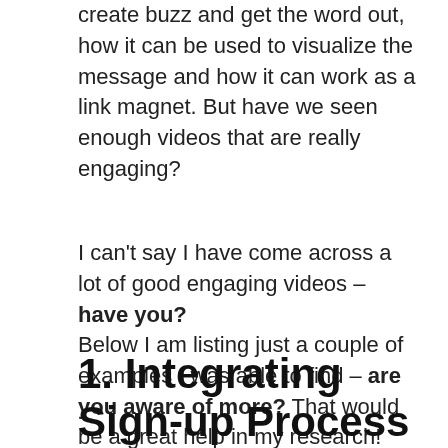create buzz and get the word out, how it can be used to visualize the message and how it can work as a link magnet. But have we seen enough videos that are really engaging?
I can't say I have come across a lot of good engaging videos – have you?
Below I am listing just a couple of examples I was able to find – are you aware of more? That would be a great help in my research!
1. Integrating Sign-up Process Right within the Video: Oxfam